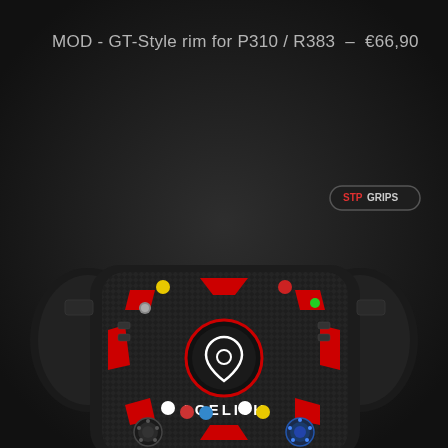MOD - GT-Style rim for P310 / R383 – €66,90
[Figure (photo): Product photo of an Acelith GT-Style racing steering wheel mod with carbon fiber face plate, red accent lines, colored buttons (yellow, red, green, white, blue), center logo with teardrop shape, and 'ACELITH' branding at the bottom. Black ergonomic grips on left and right sides. STP GRIPS badge in upper right area of image.]